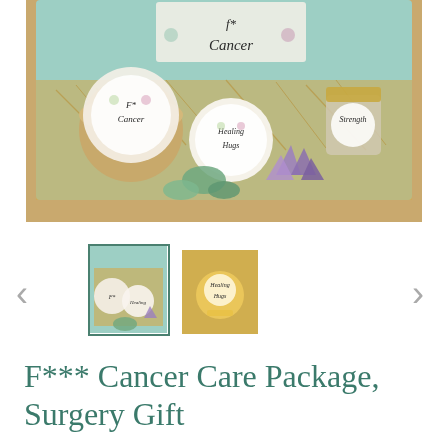[Figure (photo): A gift box containing items labeled 'F* Cancer', 'Healing Hugs', and 'Strength', with an amethyst crystal, succulent plants, and straw filler, on a teal/mint background.]
[Figure (photo): Selected thumbnail showing the same gift box contents from a top-down view with a blue/teal border indicating selection.]
[Figure (photo): Second thumbnail showing a lit candle with decorative labels, glittery gold background.]
F*** Cancer Care Package, Surgery Gift